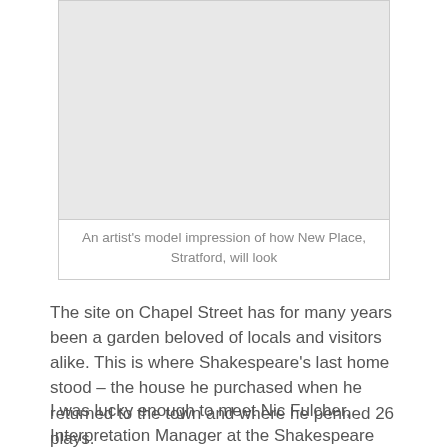[Figure (photo): An artist's model impression of how New Place, Stratford, will look — shown as a light grey placeholder image box]
An artist's model impression of how New Place, Stratford, will look
The site on Chapel Street has for many years been a garden beloved of locals and visitors alike. This is where Shakespeare's last home stood – the house he purchased when he returned to the town and where he penned 26 plays.
I was lucky enough to meet Nic Fulcher, Interpretation Manager at the Shakespeare Birthplace Trust, to learn more about this hugely